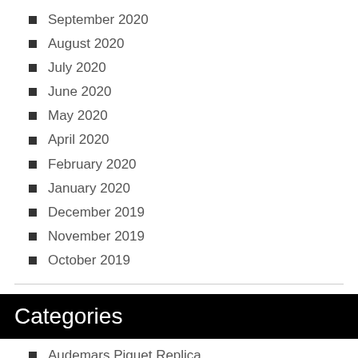September 2020
August 2020
July 2020
June 2020
May 2020
April 2020
February 2020
January 2020
December 2019
November 2019
October 2019
Categories
Audemars Piguet Replica
Bell & Ross Replica
Breitling Replica
Cartier Replica